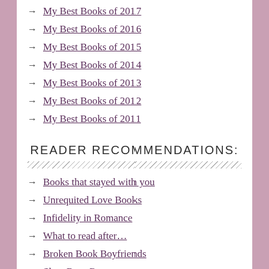My Best Books of 2017
My Best Books of 2016
My Best Books of 2015
My Best Books of 2014
My Best Books of 2013
My Best Books of 2012
My Best Books of 2011
READER RECOMMENDATIONS:
Books that stayed with you
Unrequited Love Books
Infidelity in Romance
What to read after…
Broken Book Boyfriends
Slow Burn Romance
Risqué & Forbidden Love
Comedy Romance
Favorite Audiobooks
Authors' Favorite Books